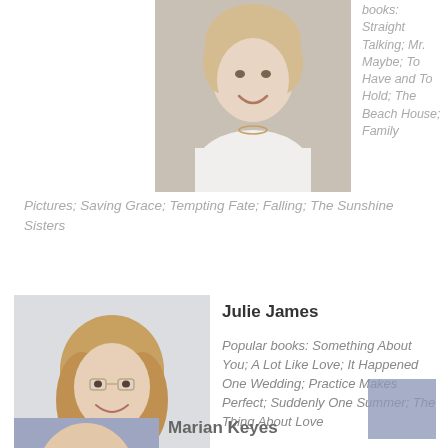[Figure (photo): Portrait photo of a smiling blonde woman in a white blouse, cropped to head and shoulders]
books: Straight Talking; Mr. Maybe; To Have and To Hold; The Beach House; Family Pictures; Saving Grace; Tempting Fate; Falling; The Sunshine Sisters
[Figure (photo): Portrait photo of Julie James, smiling woman with wavy blonde-brown hair and glasses, wearing a white sweater]
Julie James
Popular books: Something About You; A Lot Like Love; It Happened One Wedding; Practice Makes Perfect; Suddenly One Summer; The Thing About Love
[Figure (photo): Partial portrait photo of Marian Keyes at bottom of page, cropped]
Marian Keyes